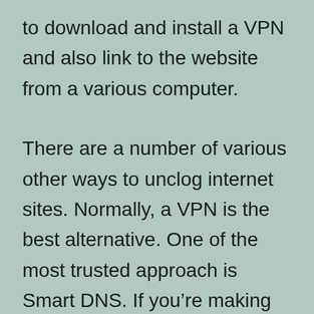to download and install a VPN and also link to the website from a various computer.
There are a number of various other ways to unclog internet sites. Normally, a VPN is the best alternative. One of the most trusted approach is Smart DNS. If you’re making use of a proxy, however, it may be more difficult to unblock the website. A VPN is a software that works with your os. An online private network will certainly let you browse internet sites from various other nations. However if you’re utilizing a VPN in a nation that has strict regulations concerning IP addresses, you